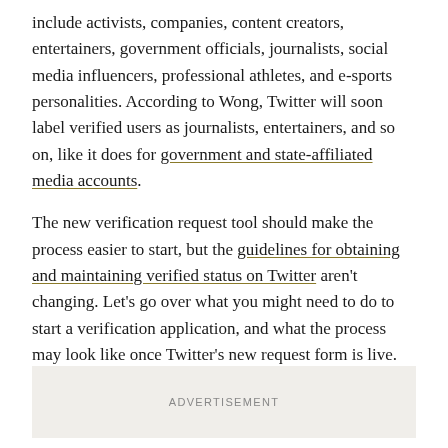include activists, companies, content creators, entertainers, government officials, journalists, social media influencers, professional athletes, and e-sports personalities. According to Wong, Twitter will soon label verified users as journalists, entertainers, and so on, like it does for government and state-affiliated media accounts.
The new verification request tool should make the process easier to start, but the guidelines for obtaining and maintaining verified status on Twitter aren't changing. Let's go over what you might need to do to start a verification application, and what the process may look like once Twitter's new request form is live.
How to apply for Twitter verification
ADVERTISEMENT